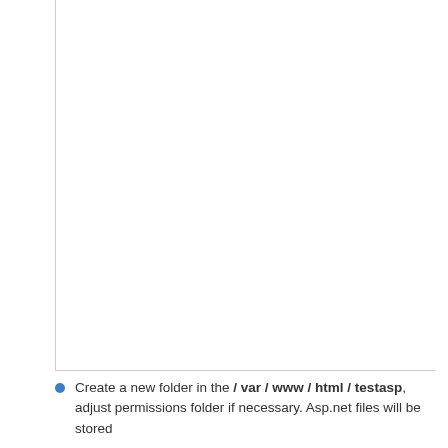[Figure (other): Large white empty area with left and bottom borders, representing a figure or image placeholder.]
Create a new folder in the / var / www / html / testasp, adjust permissions folder if necessary. Asp.net files will be stored